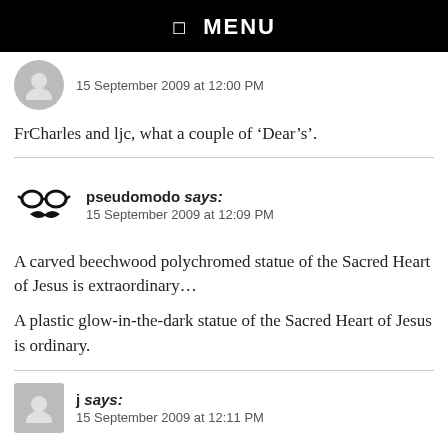☰ MENU
15 September 2009 at 12:00 PM
FrCharles and ljc, what a couple of ‘Dear’s’.
pseudomodo says:
15 September 2009 at 12:09 PM
A carved beechwood polychromed statue of the Sacred Heart of Jesus is extraordinary…
A plastic glow-in-the-dark statue of the Sacred Heart of Jesus is ordinary.
j says:
15 September 2009 at 12:11 PM